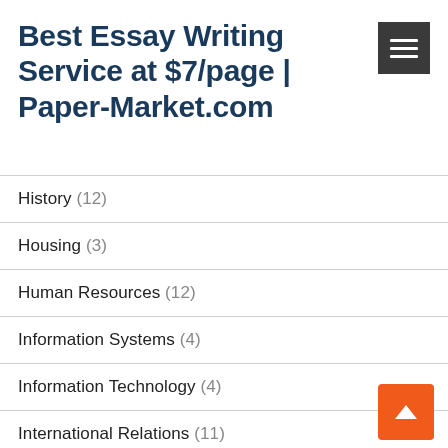Best Essay Writing Service at $7/page | Paper-Market.com
History (12)
Housing (3)
Human Resources (12)
Information Systems (4)
Information Technology (4)
International Relations (11)
International Studies (230)
Journalism (3)
Languages (2)
Law (1,154)